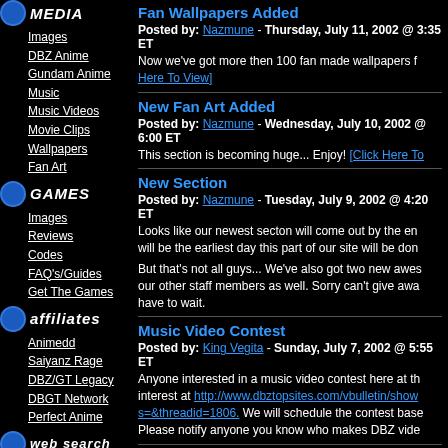MEDIA
Images
DBZ Anime
Gundam Anime
Music
Music Videos
Movie Clips
Wallpapers
Fan Art
GAMES
Images
Reviews
Codes
FAQ's/Guides
Get The Games
affiliates
Animedd
Saiyanz Rage
DBZ/GT Legacy
DBGT Network
Perfect Anime
web search
Dragonball Z
Movies
Music
Free Stuff
Fan Wallpapers Added
Posted by: Nazmune - Thursday, July 11, 2002 @ 3:35 ET
Now we've got more then 100 fan made wallpapers f... [Click Here To View]
New Fan Art Added
Posted by: Nazmune - Wednesday, July 10, 2002 @ 6:00 ET
This section is becoming huge... Enjoy! [Click Here To...
New Section
Posted by: Nazmune - Tuesday, July 9, 2002 @ 4:20 ET
Looks like our newest secton will come out by the en... will be the earliest day this part of our site will be don...
But that's not all guys... We've also got two new awes... our other staff members as well. Sorry can't give awa... have to wait.
Music Video Contest
Posted by: King Vegita - Sunday, July 7, 2002 @ 5:55 ET
Anyone interested in a music video contest here at th... interest at http://www.dbztopsites.com/vbulletin/show... s=&threadid=1806. We will schedule the contest base... Please notify anyone you know who makes DBZ vide...
Fan Art Update
Posted by: Nazmune - Sunday, July 7, 2002 @ 2:02 ET
Updated the fan art section... Enjoy! [Click Here To V...
Middle Tennessee Anime Convention...